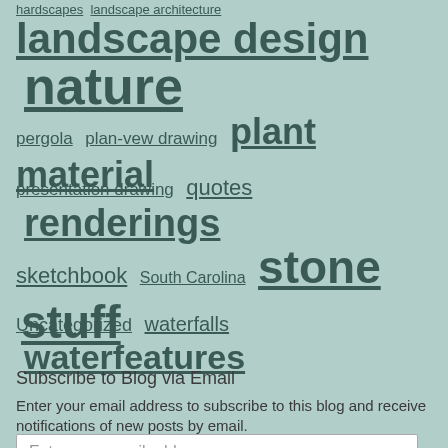hardscapes landscape architecture
landscape design nature
pergola plan-vew drawing plant material
presentation drawing quotes renderings
sketchbook South Carolina stone stuff
Uncategorized waterfalls waterfeatures
Subscribe to Blog via Email
Enter your email address to subscribe to this blog and receive notifications of new posts by email.
Enter your email address